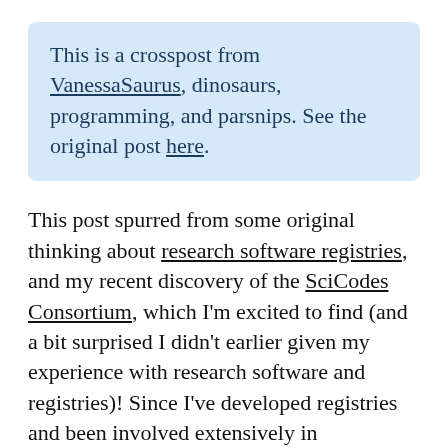This is a crosspost from VanessaSaurus, dinosaurs, programming, and parsnips. See the original post here.
This post spurred from some original thinking about research software registries, and my recent discovery of the SciCodes Consortium, which I'm excited to find (and a bit surprised I didn't earlier given my experience with research software and registries)! Since I've developed registries and been involved extensively in